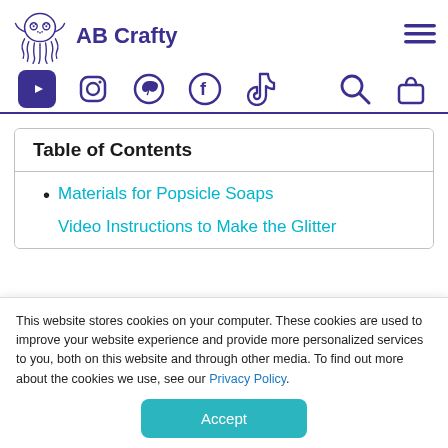[Figure (logo): AB Crafty website header with octopus logo, site name 'AB Crafty', and hamburger menu icon]
[Figure (infographic): Navigation icon bar with YouTube, Instagram, Pinterest, Facebook, TikTok icons on the left and search and bag icons on the right]
Table of Contents
Materials for Popsicle Soaps
Video Instructions to Make the Glitter
This website stores cookies on your computer. These cookies are used to improve your website experience and provide more personalized services to you, both on this website and through other media. To find out more about the cookies we use, see our Privacy Policy.
Accept